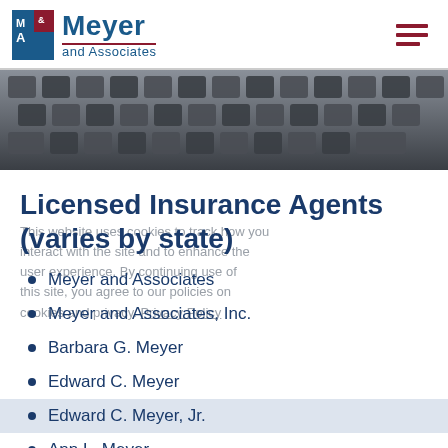[Figure (logo): Meyer and Associates logo with blue M&A icon and text]
[Figure (photo): Close-up photo of a keyboard (dark keys), used as hero banner]
Licensed Insurance Agents (varies by state)
This website uses cookies to track how you interact with the site and to enhance the user experience. By continuing use of this site, you agree to our policies on cookies and privacy. Privacy Policy
Meyer and Associates
Meyer and Associates, Inc.
Barbara G. Meyer
Edward C. Meyer
Edward C. Meyer, Jr.
Ann L. Meyer